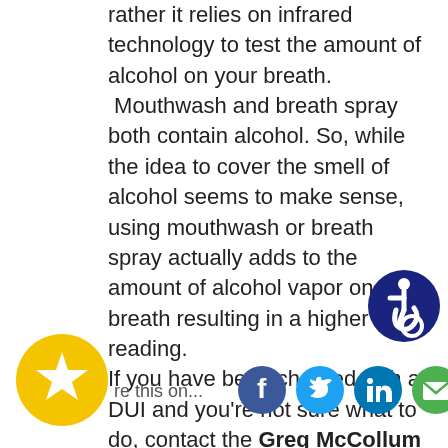rather it relies on infrared technology to test the amount of alcohol on your breath. Mouthwash and breath spray both contain alcohol. So, while the idea to cover the smell of alcohol seems to make sense, using mouthwash or breath spray actually adds to the amount of alcohol vapor on your breath resulting in a higher BAC reading.
If you have been charged with a DUI and you're not sure what to do, contact the Greg McCollum Complete Legal Defense Team today. We can help you with your case and get the fair treatment you deserve.
[Figure (illustration): Accessibility icon: blue circle with white wheelchair user symbol]
[Figure (illustration): Yellow circle with white star icon (favorite/bookmark button)]
re this on...
[Figure (illustration): Social sharing icons: Facebook (blue), Twitter (cyan), LinkedIn (blue), Email (green)]